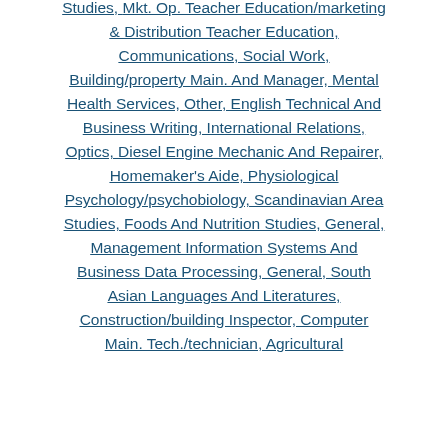Studies, Mkt. Op. Teacher Education/marketing & Distribution Teacher Education, Communications, Social Work, Building/property Main. And Manager, Mental Health Services, Other, English Technical And Business Writing, International Relations, Optics, Diesel Engine Mechanic And Repairer, Homemaker's Aide, Physiological Psychology/psychobiology, Scandinavian Area Studies, Foods And Nutrition Studies, General, Management Information Systems And Business Data Processing, General, South Asian Languages And Literatures, Construction/building Inspector, Computer Main. Tech./technician, Agricultural